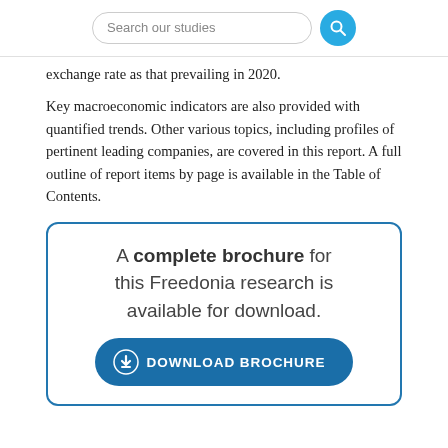[Figure (other): Search bar UI element with text 'Search our studies' and a blue circular search button]
exchange rate as that prevailing in 2020.
Key macroeconomic indicators are also provided with quantified trends. Other various topics, including profiles of pertinent leading companies, are covered in this report. A full outline of report items by page is available in the Table of Contents.
[Figure (infographic): A bordered box with text 'A complete brochure for this Freedonia research is available for download.' and a blue DOWNLOAD BROCHURE button with a download icon]